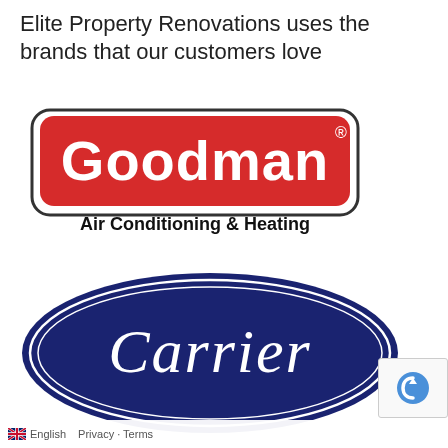Elite Property Renovations uses the brands that our customers love
[Figure (logo): Goodman Air Conditioning & Heating logo — red rounded rectangle with white bold 'Goodman' text and registered trademark symbol, black text below reads 'Air Conditioning & Heating']
[Figure (logo): Carrier logo — dark navy blue oval/ellipse shape with white italic 'Carrier' script text and white double-line oval border]
English  Privacy · Terms